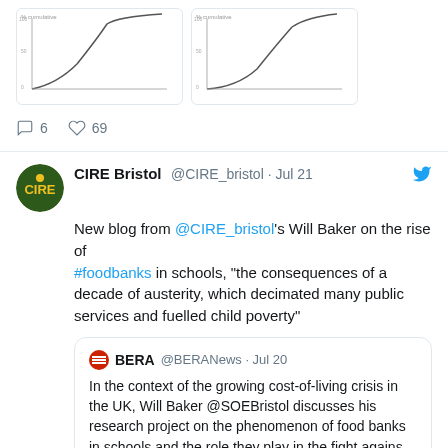[Figure (screenshot): Partial tweet showing two graphs at top]
6  69
[Figure (screenshot): CIRE Bristol Twitter avatar - circular green logo with yellow CIRE text]
CIRE Bristol @CIRE_bristol · Jul 21
New blog from @CIRE_bristol's Will Baker on the rise of #foodbanks in schools, "the consequences of a decade of austerity, which decimated many public services and fuelled child poverty"
BERA @BERANews · Jul 20
In the context of the growing cost-of-living crisis in the UK, Will Baker @SOEBristol discusses his research project on the phenomenon of food banks in schools and the role they play in the fight agains…
5